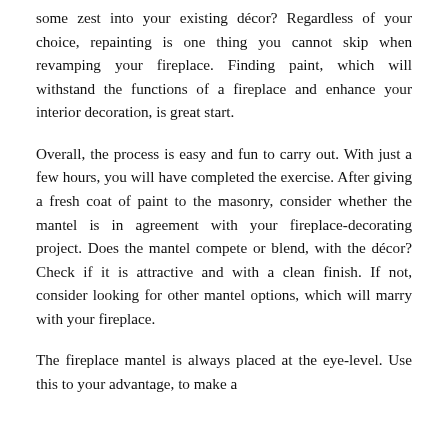some zest into your existing décor? Regardless of your choice, repainting is one thing you cannot skip when revamping your fireplace. Finding paint, which will withstand the functions of a fireplace and enhance your interior decoration, is great start.
Overall, the process is easy and fun to carry out. With just a few hours, you will have completed the exercise. After giving a fresh coat of paint to the masonry, consider whether the mantel is in agreement with your fireplace-decorating project. Does the mantel compete or blend, with the décor? Check if it is attractive and with a clean finish. If not, consider looking for other mantel options, which will marry with your fireplace.
The fireplace mantel is always placed at the eye-level. Use this to your advantage, to make a